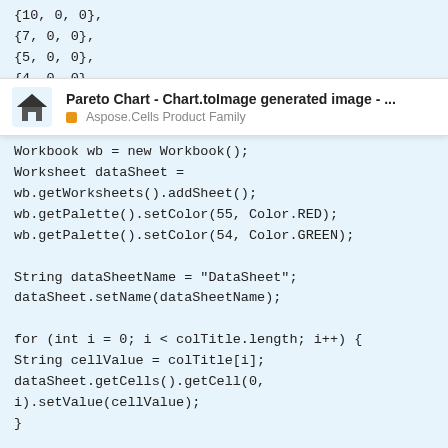{10, 0, 0},
{7, 0, 0},
{5, 0, 0},
{4, 0, 0},
[Figure (screenshot): Popup/tooltip bar showing 'Pareto Chart - Chart.toImage generated image - ...' with Aspose.Cells Product Family label and house icon]
Workbook wb = new Workbook();
Worksheet dataSheet = wb.getWorksheets().addSheet();
wb.getPalette().setColor(55, Color.RED);
wb.getPalette().setColor(54, Color.GREEN);

String dataSheetName = "DataSheet";
dataSheet.setName(dataSheetName);

for (int i = 0; i < colTitle.length; i++) {
String cellValue = colTitle[i];
dataSheet.getCells().getCell(0, i).setValue(cellValue);
}

for (int i = 0; i < rowTitle.length; i++) {
String cellValue = rowTitle[i];
dataSheet.getCells().getCell(i + 1, 0).setV
1 / 4